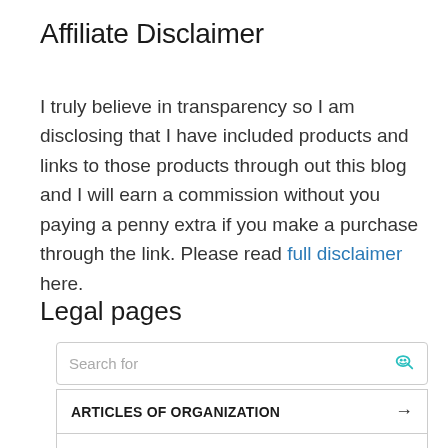Affiliate Disclaimer
I truly believe in transparency so I am disclosing that I have included products and links to those products through out this blog and I will earn a commission without you paying a penny extra if you make a purchase through the link. Please read full disclaimer here.
Legal pages
[Figure (other): Ad widget with search bar and two ad buttons: ARTICLES OF ORGANIZATION and CLASS ACTION CASES LAWSUITS, with ad footer showing Business Focus label]